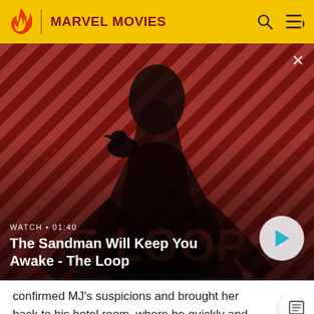MARVEL MOVIES
[Figure (screenshot): Video thumbnail showing a dark-cloaked figure with a raven on shoulder against a red diagonal-striped background. Text overlay: WATCH • 01:40. Title: The Sandman Will Keep You Awake - The Loop. A play button circle is in the lower right.]
confirmed MJ's suspicions and brought her back to his hotel room, where he quickly and awkwardly changed into his stealth suit.
The next day, MJ and her classmates were on the London Bridge when Mysterio activated his drones and created